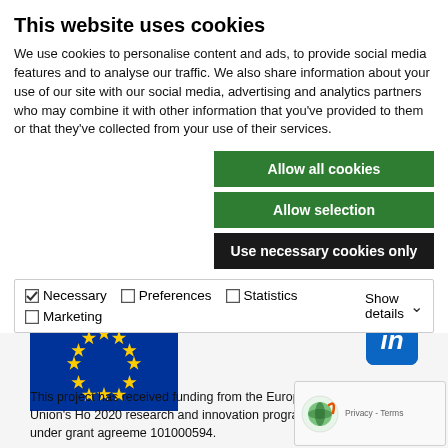This website uses cookies
We use cookies to personalise content and ads, to provide social media features and to analyse our traffic. We also share information about your use of our site with our social media, advertising and analytics partners who may combine it with other information that you've provided to them or that they've collected from your use of their services.
Allow all cookies
Allow selection
Use necessary cookies only
| Necessary | Preferences | Statistics | Show details |
| Marketing |  |  |  |
[Figure (illustration): European Union flag with blue background and circle of gold stars]
[Figure (logo): LinkedIn logo button with blue rounded square background]
This project has received funding from the European Union's Ho 2020 research and innovation programme under grant agreeme 101000594.
[Figure (illustration): Google reCAPTCHA badge showing globe icon with Privacy and Terms text]